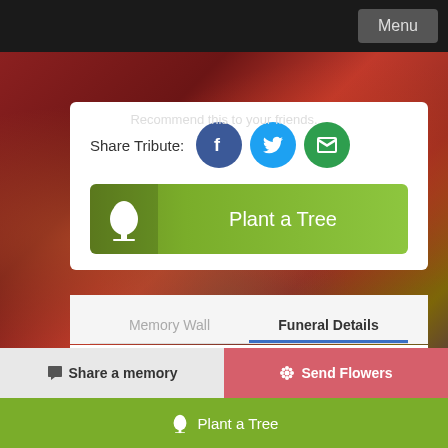Menu
Recommend this to your friends.
Share Tribute:
[Figure (screenshot): Social sharing icons: Facebook (blue circle with f), Twitter (cyan circle with bird), Email (green circle with envelope)]
Plant a Tree
Memory Wall
Funeral Details
Obituary
Share a memory
Send Flowers
Plant a Tree